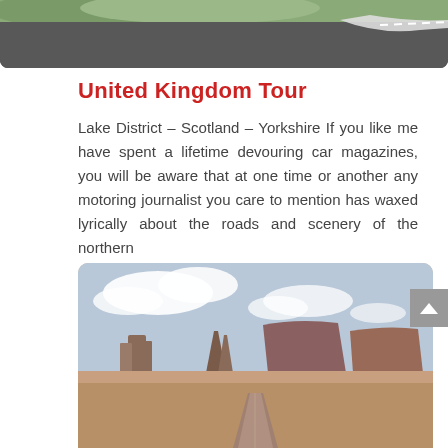[Figure (photo): Top portion of a road photo, partially cropped, showing a road with white line markings and green grass at the top edge]
United Kingdom Tour
Lake District – Scotland – Yorkshire If you like me have spent a lifetime devouring car magazines, you will be aware that at one time or another any motoring journalist you care to mention has waxed lyrically about the roads and scenery of the northern
[Figure (photo): Landscape photo showing Monument Valley or similar desert scenery with large mesas and buttes under a partly cloudy sky, with a straight road leading into the distance in the foreground]